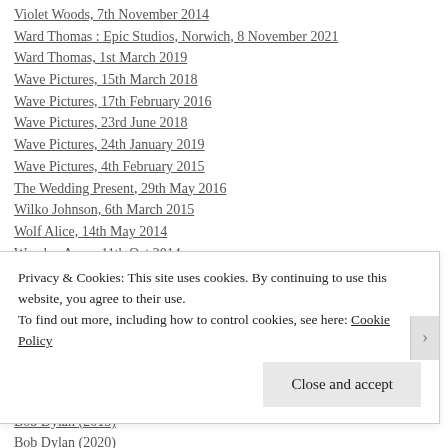Violet Woods, 7th November 2014
Ward Thomas : Epic Studios, Norwich, 8 November 2021
Ward Thomas, 1st March 2019
Wave Pictures, 15th March 2018
Wave Pictures, 17th February 2016
Wave Pictures, 23rd June 2018
Wave Pictures, 24th January 2019
Wave Pictures, 4th February 2015
The Wedding Present, 29th May 2016
Wilko Johnson, 6th March 2015
Wolf Alice, 14th May 2014
Wooden Arms, 11th Oct 2014
Wooden Arms, 13th December 2017
Yonaka, 3rd June 2019
Album reviews
Alvvays
Atomised
BansheeVa
Bob Dylan (2015)
Bob Dylan (2020)
Privacy & Cookies: This site uses cookies. By continuing to use this website, you agree to their use.
To find out more, including how to control cookies, see here: Cookie Policy